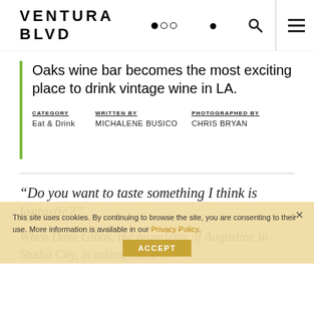VENTURA BLVD
Oaks wine bar becomes the most exciting place to drink vintage wine in LA.
Category
Eat & Drink
WRITTEN BY
MICHALENE BUSICO
PHOTOGRAPHED BY
CHRIS BRYAN
“Do you want to taste something I think is fantastic?”
When Dave Gibbs, the proprietor of Augustine in Studio City, is asking, there is
This site uses cookies. By continuing to browse the site, you are consenting to their use. More information is available in our Privacy Policy.
ACCEPT